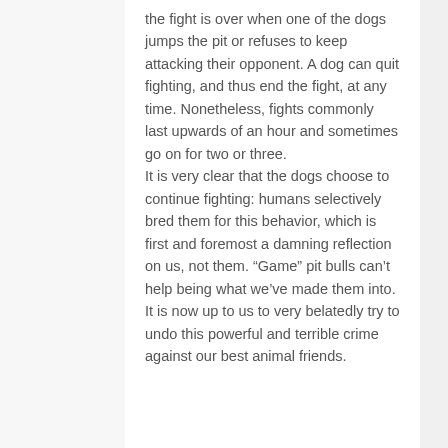the fight is over when one of the dogs jumps the pit or refuses to keep attacking their opponent. A dog can quit fighting, and thus end the fight, at any time. Nonetheless, fights commonly last upwards of an hour and sometimes go on for two or three.
It is very clear that the dogs choose to continue fighting: humans selectively bred them for this behavior, which is first and foremost a damning reflection on us, not them. “Game” pit bulls can’t help being what we’ve made them into. It is now up to us to very belatedly try to undo this powerful and terrible crime against our best animal friends.